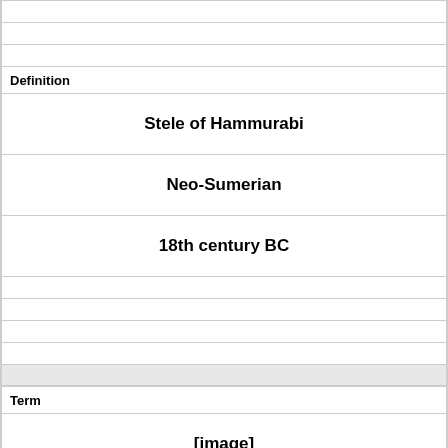|  |
|  |
| Definition |
| Stele of Hammurabi |
| Neo-Sumerian |
| 18th century BC |
|  |
|  |
|  |
|  |
| Term |
| [image] |
|  |
|  |